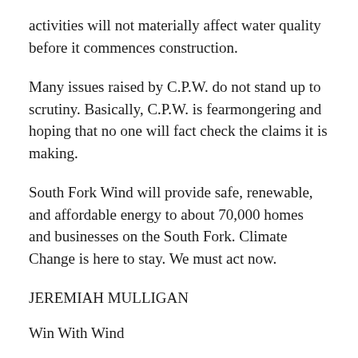activities will not materially affect water quality before it commences construction.
Many issues raised by C.P.W. do not stand up to scrutiny. Basically, C.P.W. is fearmongering and hoping that no one will fact check the claims it is making.
South Fork Wind will provide safe, renewable, and affordable energy to about 70,000 homes and businesses on the South Fork. Climate Change is here to stay. We must act now.
JEREMIAH MULLIGAN
Win With Wind